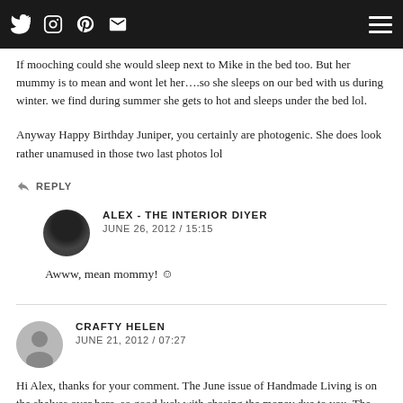Navigation bar with social icons (Twitter, Instagram, Pinterest, Email) and hamburger menu
If mooching could she would sleep next to Mike in the bed too. But her mummy is to mean and wont let her….so she sleeps on our bed with us during winter. we find during summer she gets to hot and sleeps under the bed lol.
Anyway Happy Birthday Juniper, you certainly are photogenic. She does look rather unamused in those two last photos lol
REPLY
ALEX - THE INTERIOR DIYER
JUNE 26, 2012 / 15:15
Awww, mean mommy! 😊
CRAFTY HELEN
JUNE 21, 2012 / 07:27
Hi Alex, thanks for your comment. The June issue of Handmade Living is on the shelves over here, so good luck with chasing the money due to you. The